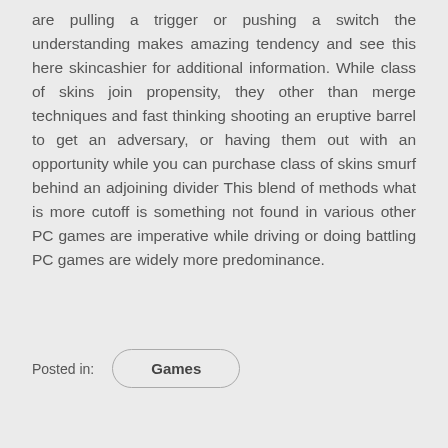are pulling a trigger or pushing a switch the understanding makes amazing tendency and see this here skincashier for additional information. While class of skins join propensity, they other than merge techniques and fast thinking shooting an eruptive barrel to get an adversary, or having them out with an opportunity while you can purchase class of skins smurf behind an adjoining divider This blend of methods what is more cutoff is something not found in various other PC games are imperative while driving or doing battling PC games are widely more predominance.
Posted in:
Games